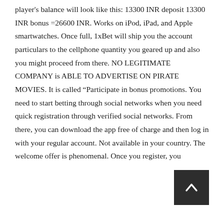player's balance will look like this: 13300 INR deposit 13300 INR bonus =26600 INR. Works on iPod, iPad, and Apple smartwatches. Once full, 1xBet will ship you the account particulars to the cellphone quantity you geared up and also you might proceed from there. NO LEGITIMATE COMPANY is ABLE TO ADVERTISE ON PIRATE MOVIES. It is called “Participate in bonus promotions. You need to start betting through social networks when you need quick registration through verified social networks. From there, you can download the app free of charge and then log in with your regular account. Not available in your country. The welcome offer is phenomenal. Once you register, you